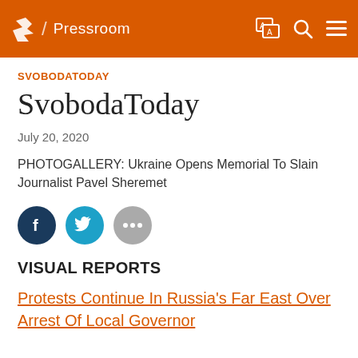/ Pressroom
SVOBODATODAY
SvobodaToday
July 20, 2020
PHOTOGALLERY: Ukraine Opens Memorial To Slain Journalist Pavel Sheremet
[Figure (infographic): Social share buttons: Facebook (dark blue circle with 'f'), Twitter (cyan circle with bird icon), More (gray circle with '...')]
VISUAL REPORTS
Protests Continue In Russia's Far East Over Arrest Of Local Governor